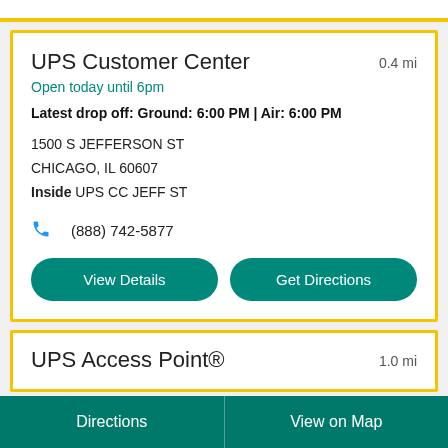UPS Customer Center
0.4 mi
Open today until 6pm
Latest drop off: Ground: 6:00 PM | Air: 6:00 PM
1500 S JEFFERSON ST
CHICAGO, IL 60607
Inside UPS CC JEFF ST
(888) 742-5877
View Details
Get Directions
UPS Access Point®
1.0 mi
Directions
View on Map